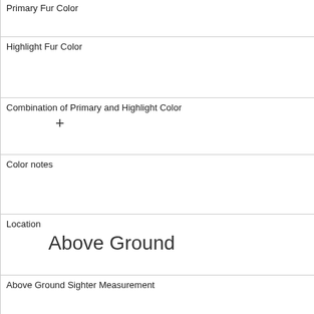| Primary Fur Color |  |
| Highlight Fur Color |  |
| Combination of Primary and Highlight Color | + |
| Color notes |  |
| Location | Above Ground |
| Above Ground Sighter Measurement |  |
| Specific Location | on tree, blue jays gathering nearby |
| Running | 0 |
| Chasing | 0 |
| Climbing | 0 |
| Eating |  |